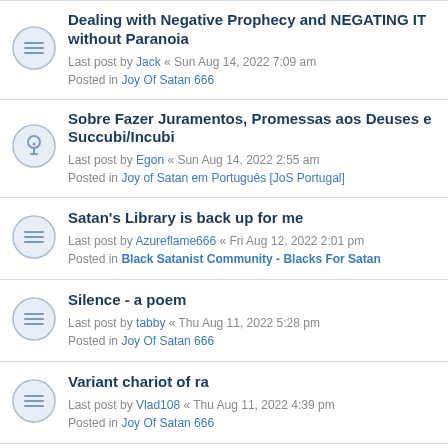Dealing with Negative Prophecy and NEGATING IT without Paranoia
Last post by Jack « Sun Aug 14, 2022 7:09 am
Posted in Joy Of Satan 666
Sobre Fazer Juramentos, Promessas aos Deuses e Succubi/Incubi
Last post by Egon « Sun Aug 14, 2022 2:55 am
Posted in Joy of Satan em Português [JoS Portugal]
Satan's Library is back up for me
Last post by Azureflame666 « Fri Aug 12, 2022 2:01 pm
Posted in Black Satanist Community - Blacks For Satan
Silence - a poem
Last post by tabby « Thu Aug 11, 2022 5:28 pm
Posted in Joy Of Satan 666
Variant chariot of ra
Last post by Vlad108 « Thu Aug 11, 2022 4:39 pm
Posted in Joy Of Satan 666